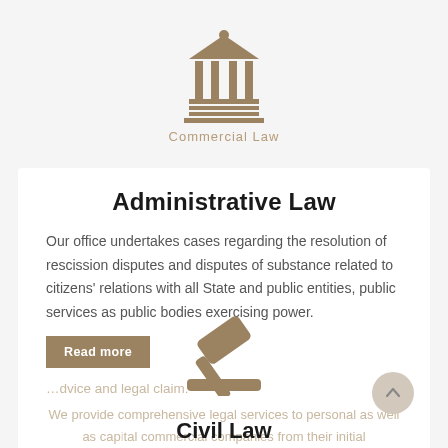[Figure (illustration): Brown/tan courthouse/pillars icon with dome shape at top, representing a law firm or legal institution]
Commercial Law
Administrative Law
Our office undertakes cases regarding the resolution of rescission disputes and disputes of substance related to citizens' relations with all State and public entities, public services as public bodies exercising power.
Read more
…dvice and legal claim.
We provide comprehensive legal services to personal as well as capital commercial companies from their initial establishment until the judicial settlement of any kind of disputes arising from the operation and trading activity with third parties (natural and…
[Figure (illustration): Brown gavel icon]
Civil Law